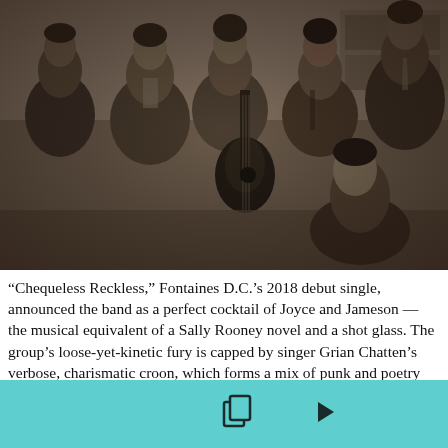[Figure (photo): Sepia-toned black and white photograph of five men (Fontaines D.C.) posing together, one holding a guitar, in a vintage/moody style]
“Chequeless Reckless,” Fontaines D.C.’s 2018 debut single, announced the band as a perfect cocktail of Joyce and Jameson — the musical equivalent of a Sally Rooney novel and a shot glass. The group’s loose-yet-kinetic fury is capped by singer Grian Chatten’s verbose, charismatic croon, which forms a mix of punk and poetry that’s equal parts loquacious swing and romantic swoon.